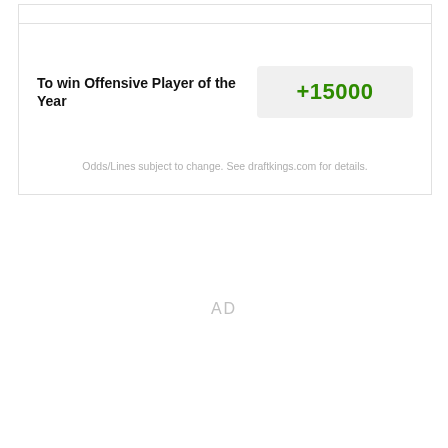| Bet Type | Odds |
| --- | --- |
| To win Offensive Player of the Year | +15000 |
Odds/Lines subject to change. See draftkings.com for details.
AD